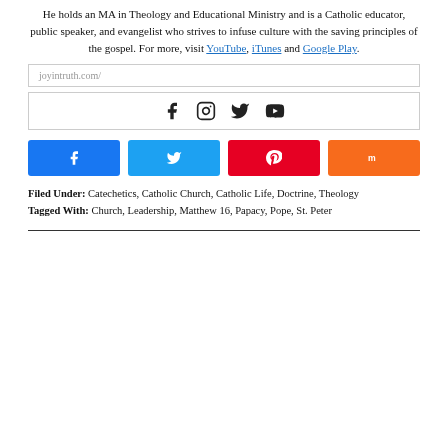He holds an MA in Theology and Educational Ministry and is a Catholic educator, public speaker, and evangelist who strives to infuse culture with the saving principles of the gospel. For more, visit YouTube, iTunes and Google Play.
joyintruth.com/
[Figure (infographic): Social media icons: Facebook, Instagram, Twitter, YouTube]
[Figure (infographic): Share buttons: Facebook (blue), Twitter (light blue), Pinterest (red), Mix (orange)]
Filed Under: Catechetics, Catholic Church, Catholic Life, Doctrine, Theology
Tagged With: Church, Leadership, Matthew 16, Papacy, Pope, St. Peter